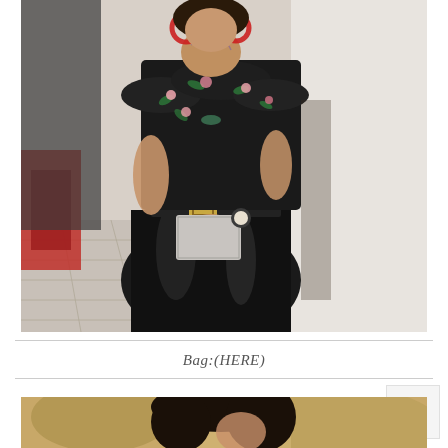[Figure (photo): Street style fashion photo of a woman wearing a black floral cold-shoulder ruffled top, black shiny midi skirt with a large square-buckle belt, holding a small silver/metallic clutch bag, wearing a watch and red hoop earrings. She is standing outdoors on a tiled surface with blurred background.]
Bag:(HERE)
[Figure (photo): Partial bottom photo showing the top portion of another fashion image - a woman with dark hair outdoors in warm lighting, cropped at the bottom of the page.]